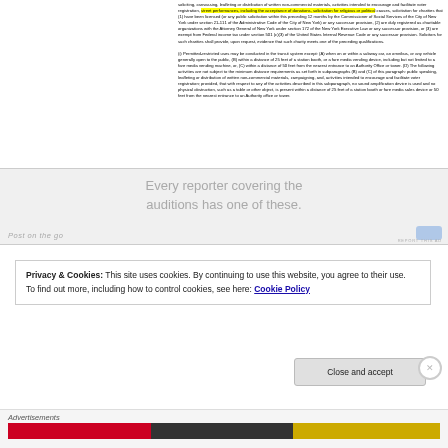soliciting, canvassing, leafleting or distribution of written non-commercial materials, activities intended to encourage and facilitate voter registration, street performances, including the acceptance of donations, solicitation for religious or political causes, solicitation for charities that (1) have been licensed (or any public solicitation within this preceding 12 months by the Commissioner of Social Services of the City of New York under section 21-111 of the Administrative Code of the City of New York) or any successor provision, (2) are duly registered as charitable organizations with the Attorney General of New York under section 172 of the New York Executive Law or any successor provision, or (3) are exempt from Federal income tax under section 501 (c)(3) of the United States Internal Revenue Code or any successor provision. Solicitors for such charities shall provide, upon request, evidence that such charity meets one of the preceding qualifications.

(i) Permitted-restricted uses may be conducted in the transit system except: (A) when on or within a subway car, an omnibus, or any vehicle generally open to the public, (B) within a distance of 25 feet of a station booth, or a fare media vending device, including but not limited to a fare media vending machine, or, (C) within a distance of 50 feet from the nearest entrance to an Authority Office or tower. (D) The following activities are not subject to the minimum distance requirements as set forth in subparagraphs (B) and (C) of this paragraph: public speaking, leafleting or distribution of written non-commercial materials, campaigning, and, activities intended to encourage and facilitate voter registration; provided, that with respect to any of the activities described in this subparagraph, no sound amplification device is used and no physical obstruction, such as a table or other object, is present within a distance of 25 feet of a station booth or fare media sales device or 50 feet from the nearest entrance to an Authority office or tower.
[Figure (screenshot): Advertisement banner: 'Every reporter covering the auditions has one of these. Post on the go' with a blue button, and a 'REPORT THIS AD' link.]
Privacy & Cookies: This site uses cookies. By continuing to use this website, you agree to their use.
To find out more, including how to control cookies, see here: Cookie Policy
Close and accept
Advertisements